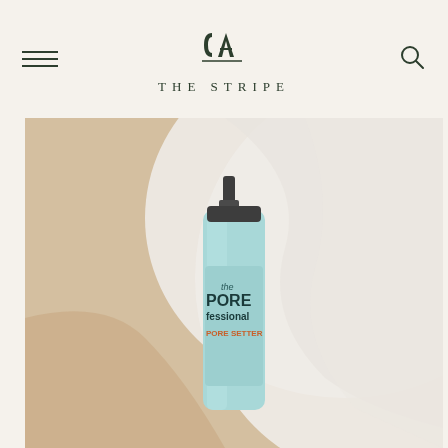[Figure (logo): The Stripe blog logo with stylized CA monogram and THE STRIPE text]
[Figure (photo): A light blue spray bottle of Benefit 'the POREfessional PORE SETTER' product lying on white fabric/towel with a beige background]